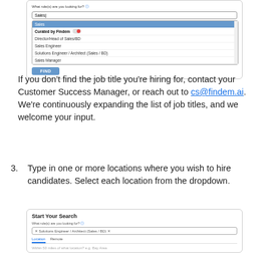[Figure (screenshot): Search UI screenshot showing a dropdown with 'Sales' typed in the role search field. The selected item is 'Sales' (highlighted in blue). Below is a section 'Curated by Findem' with a toggle, and items: Director/Head of Sales/BD, Sales Engineer, Solutions Engineer / Architect (Sales / BD), Sales Manager. A blue FIND button is shown.]
If you don't find the job title you're hiring for, contact your Customer Success Manager, or reach out to cs@findem.ai. We're continuously expanding the list of job titles, and we welcome your input.
3. Type in one or more locations where you wish to hire candidates. Select each location from the dropdown.
[Figure (screenshot): Start Your Search UI screenshot showing a role field pre-filled with 'Solutions Engineer / Architect (Sales / BD)', tabs for Location and Remote with Location underlined in blue, and a text prompt 'Within 50 miles of what location? e.g. Bay Area'.]